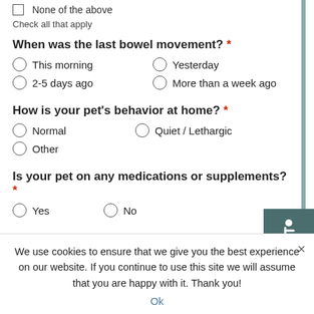None of the above
Check all that apply
When was the last bowel movement? *
This morning
Yesterday
2-5 days ago
More than a week ago
How is your pet's behavior at home? *
Normal
Quiet / Lethargic
Other
Is your pet on any medications or supplements? *
Yes
No
[Figure (logo): Accessibility icon - white wheelchair user symbol on dark teal/green background]
We use cookies to ensure that we give you the best experience on our website. If you continue to use this site we will assume that you are happy with it. Thank you!
Ok